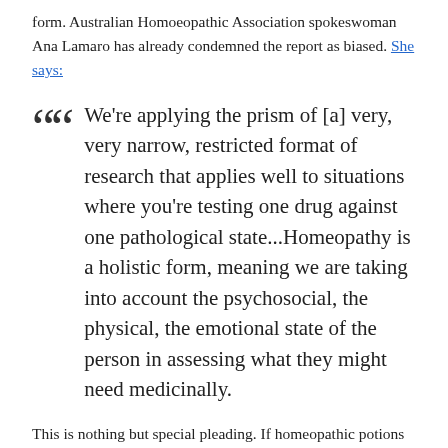form. Australian Homoeopathic Association spokeswoman Ana Lamaro has already condemned the report as biased. She says:
We're applying the prism of [a] very, very narrow, restricted format of research that applies well to situations where you're testing one drug against one pathological state...Homeopathy is a holistic form, meaning we are taking into account the psychosocial, the physical, the emotional state of the person in assessing what they might need medicinally.
This is nothing but special pleading. If homeopathic potions